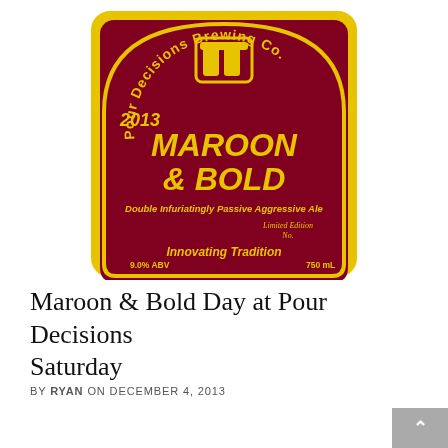[Figure (logo): Beer label for 'Pour Decisions Brewing Co.' - 2013 Maroon & Bold, Double Infuriatingly Passive Aggressive Ale. Maroon background with yellow text and border. Limited Edition No. 9.0% ABV, 750 mL. Innovating Tradition.]
Maroon & Bold Day at Pour Decisions Brewing Saturday
BY RYAN ON DECEMBER 4, 2013